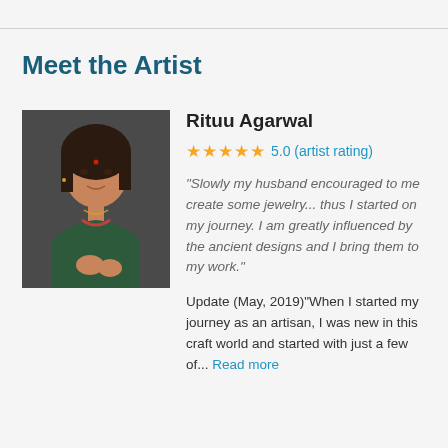Meet the Artist
[Figure (photo): Portrait photo of Rituu Agarwal, a woman working on jewelry]
Rituu Agarwal
★★★★★ 5.0 (artist rating)
"Slowly my husband encouraged to me create some jewelry... thus I started on my journey. I am greatly influenced by the ancient designs and I bring them to my work."
Update (May, 2019)"When I started my journey as an artisan, I was new in this craft world and started with just a few of... Read more